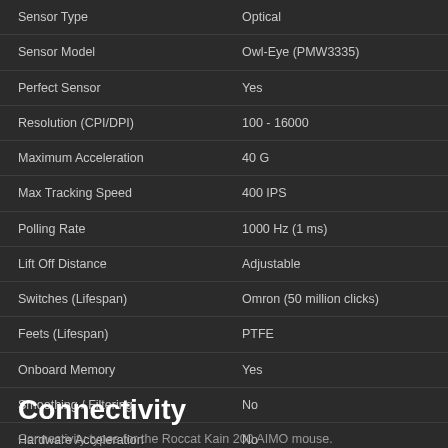| Property | Value |
| --- | --- |
| Sensor Type | Optical |
| Sensor Model | Owl-Eye (PMW3335) |
| Perfect Sensor | Yes |
| Resolution (CPI/DPI) | 100 - 16000 |
| Maximum Acceleration | 40 G |
| Max Tracking Speed | 400 IPS |
| Polling Rate | 1000 Hz (1 ms) |
| Lift Off Distance | Adjustable |
| Switches (Lifespan) | Omron (50 million clicks) |
| Feets (Lifespan) | PTFE |
| Onboard Memory | Yes |
| Smoothing / Filtering | No |
| Hardware Acceleration | No |
| Click Latency | - |
Connectivity
Connectivity types for the Roccat Kain 200 AIMO mouse.